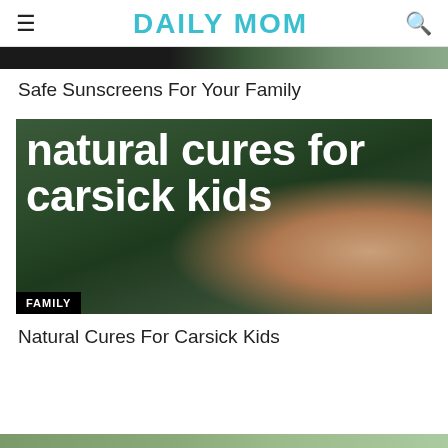DAILY MOM
[Figure (photo): Top cropped image strip showing partial photo]
Safe Sunscreens For Your Family
[Figure (photo): Image with bold white text overlay reading 'natural cures for carsick kids' with a child visible, and FAMILY badge in bottom left]
Natural Cures For Carsick Kids
[Figure (photo): Bottom cropped image strip partially visible]